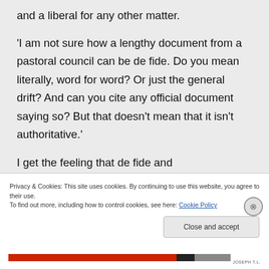and a liberal for any other matter.
'I am not sure how a lengthy document from a pastoral council can be de fide. Do you mean literally, word for word? Or just the general drift? And can you cite any official document saying so? But that doesn't mean that it isn't authoritative.'
I get the feeling that de fide and
Privacy & Cookies: This site uses cookies. By continuing to use this website, you agree to their use.
To find out more, including how to control cookies, see here: Cookie Policy
Close and accept